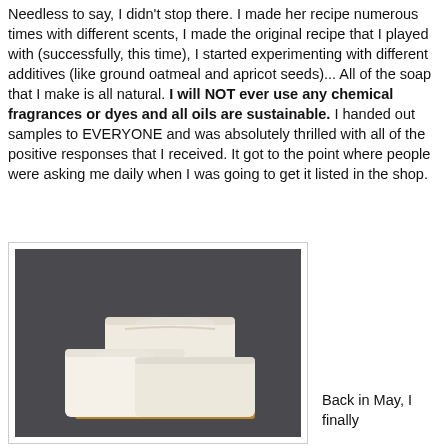Needless to say, I didn't stop there.  I made her recipe numerous times with different scents, I made the original recipe that I played with (successfully, this time), I started experimenting with different additives (like ground oatmeal and apricot seeds)...  All of the soap that I make is all natural.  I will NOT ever use any chemical fragrances or dyes and all oils are sustainable.  I handed out samples to EVERYONE and was absolutely thrilled with all of the positive responses that I received.  It got to the point where people were asking me daily when I was going to get it listed in the shop.
[Figure (photo): Photo of three white natural soap bars stacked on a wooden soap dish, against a dark gray background.]
Back in May, I finally